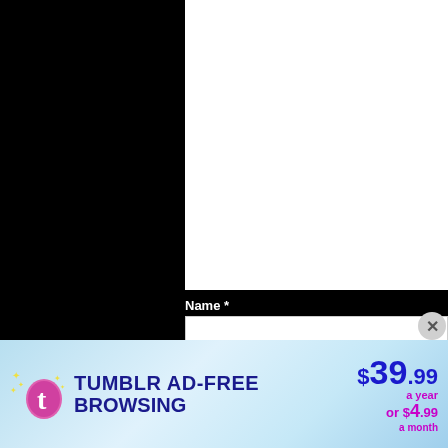[Figure (screenshot): White rectangular area on black background, representing a content area of a webpage]
Name *
[Figure (screenshot): Name input field (white text box)]
Email *
[Figure (screenshot): Email input field (white text box)]
[Figure (advertisement): Tumblr Ad-Free Browsing banner ad: $39.99 a year or $4.99 a month, with Tumblr logo]